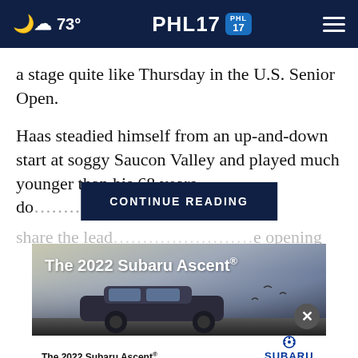73° PHL17 [PHL17 logo]
a stage quite like Thursday in the U.S. Senior Open.
Haas steadied himself from an up-and-down start at soggy Saucon Valley and played much younger than his 68 years do [CONTINUE READING] 4-under 67 to share the lead [obscured] opening
[Figure (screenshot): The 2022 Subaru Ascent advertisement showing an SUV driving on a road with birds in a twilight sky. Bottom bar shows Subaru logo and Explore button. Disclaimer text visible.]